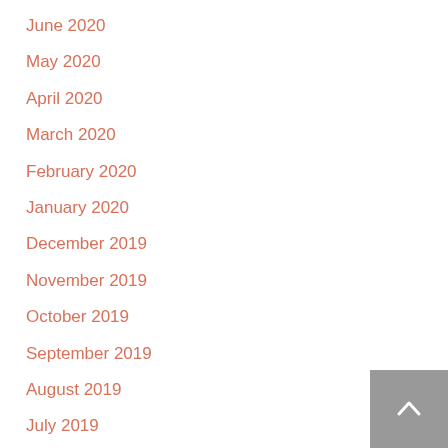June 2020
May 2020
April 2020
March 2020
February 2020
January 2020
December 2019
November 2019
October 2019
September 2019
August 2019
July 2019
April 2019
February 2019
January 2019
September 2018
August 2018